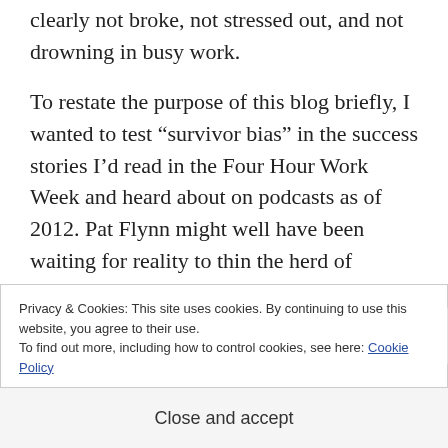clearly not broke, not stressed out, and not drowning in busy work.
To restate the purpose of this blog briefly, I wanted to test “survivor bias” in the success stories I’d read in the Four Hour Work Week and heard about on podcasts as of 2012. Pat Flynn might well have been waiting for reality to thin the herd of prospective guests giving “lifestyle entrepreneurship” a
Privacy & Cookies: This site uses cookies. By continuing to use this website, you agree to their use.
To find out more, including how to control cookies, see here: Cookie Policy
Close and accept